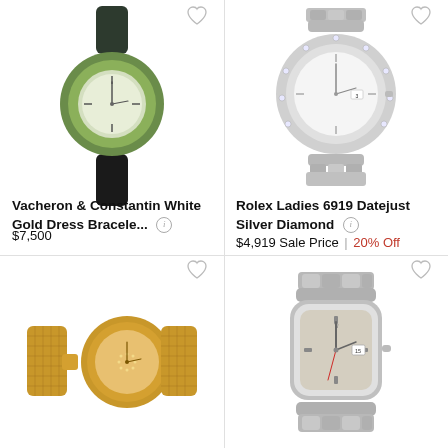[Figure (photo): Vacheron & Constantin green and dark watch with leather strap, minimalist dial]
Vacheron & Constantin White Gold Dress Bracele...
$7,500
[Figure (photo): Rolex Ladies 6919 Datejust Silver Diamond bezel watch on jubilee bracelet]
Rolex Ladies 6919 Datejust Silver Diamond
$4,919 Sale Price | 20% Off
[Figure (photo): Gold mesh bracelet ladies watch with diamond pavé dial]
[Figure (photo): Rolex Oysterdate stainless steel watch with silver dial and date window]